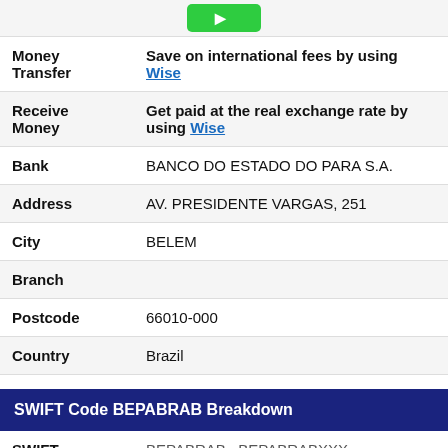| Field | Value |
| --- | --- |
| Money Transfer | Save on international fees by using Wise |
| Receive Money | Get paid at the real exchange rate by using Wise |
| Bank | BANCO DO ESTADO DO PARA S.A. |
| Address | AV. PRESIDENTE VARGAS, 251 |
| City | BELEM |
| Branch |  |
| Postcode | 66010-000 |
| Country | Brazil |
SWIFT Code BEPABRAB Breakdown
| Field | Value |
| --- | --- |
| SWIFT | BEPABRAB / BEPABRABXXX |